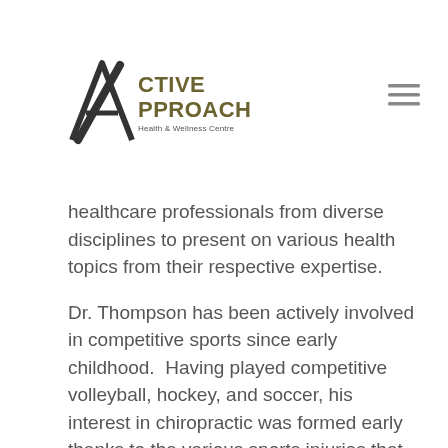[Figure (logo): Active Approach Health & Wellness Centre logo with stylized A and text]
healthcare professionals from diverse disciplines to present on various health topics from their respective expertise.
Dr. Thompson has been actively involved in competitive sports since early childhood.  Having played competitive volleyball, hockey, and soccer, his interest in chiropractic was formed early thanks to the various sports injuries that came with the territory.  He also has been an avid golfer for many years and currently plays out of Oakfield Golf & Country Club.  As such, his current day practice involves a special area of interest in sport related